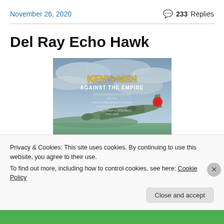November 26, 2020   💬 233 Replies
Del Ray Echo Hawk
[Figure (photo): Book cover of 'Ken's Men Against the Empire: The Illustrated History of the 43rd Bombardment Group During World War II' showing a Japanese aircraft with a rising sun insignia flying over water with cloudy sky background.]
Privacy & Cookies: This site uses cookies. By continuing to use this website, you agree to their use.
To find out more, including how to control cookies, see here: Cookie Policy